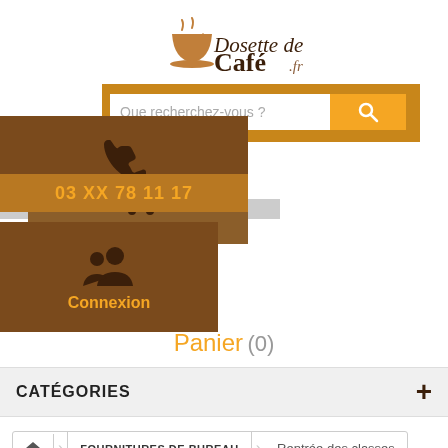[Figure (logo): Dosette de Café.fr logo with coffee cup icon, brown serif text]
[Figure (screenshot): Search bar with placeholder 'Que recherchez-vous ?' and orange search button with magnifying glass icon. Brown/orange navigation panels showing phone icon, phone number '03 XX 78 11 17', shopping cart icon, user/people icon, and 'Connexion' label.]
Panier (0)
CATÉGORIES
FOURNITURES DE BUREAU  Rentrée des classes